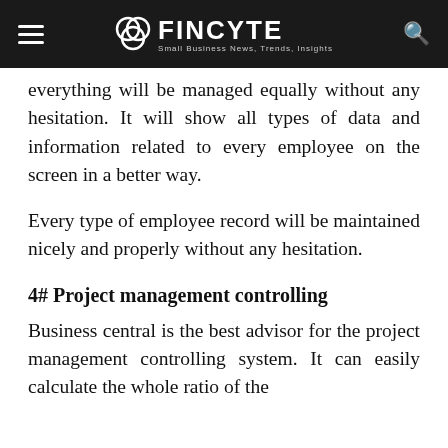FINCYTE — Small Business News, Trends, Insights
everything will be managed equally without any hesitation. It will show all types of data and information related to every employee on the screen in a better way.
Every type of employee record will be maintained nicely and properly without any hesitation.
4# Project management controlling
Business central is the best advisor for the project management controlling system. It can easily calculate the whole ratio of the